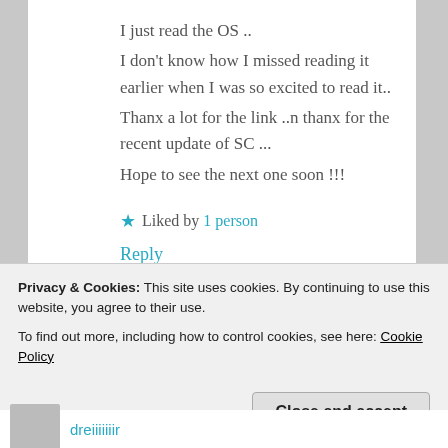I just read the OS ..
I don't know how I missed reading it earlier when I was so excited to read it..
Thanx a lot for the link ..n thanx for the recent update of SC ...
Hope to see the next one soon !!!
★ Liked by 1person
Reply
Privacy & Cookies: This site uses cookies. By continuing to use this website, you agree to their use.
To find out more, including how to control cookies, see here: Cookie Policy